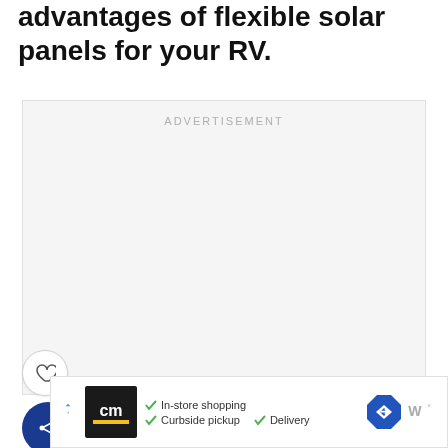advantages of flexible solar panels for your RV.
[Figure (other): Advertisement placeholder box with light gray background and 'ADVERTISEMENT' label centered at top]
[Figure (other): Heart (like) button - circular white button with heart icon outline]
[Figure (other): Share button - circular dark blue button with share/network icon and plus symbol]
[Figure (other): Bottom advertisement banner showing cm logo, checkmarks for In-store shopping, Curbside pickup, Delivery, a blue diamond navigation icon, and Waze-style icon]